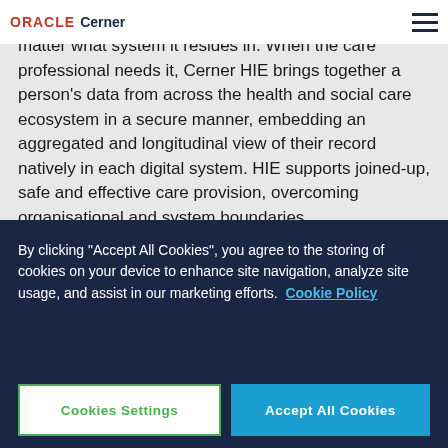ORACLE Cerner
the amalgamation of and access to shared data no matter what system it resides in. When the care professional needs it, Cerner HIE brings together a person's data from across the health and social care ecosystem in a secure manner, embedding an aggregated and longitudinal view of their record natively in each digital system. HIE supports joined-up, safe and effective care provision, overcoming organisational and system boundaries.
By clicking "Accept All Cookies", you agree to the storing of cookies on your device to enhance site navigation, analyze site usage, and assist in our marketing efforts. Cookie Policy
Cookies Settings
Accept All Cookies